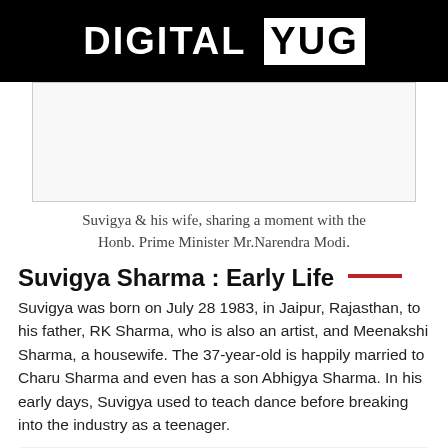DIGITAL YUG
[Figure (photo): Photo placeholder showing Suvigya and his wife with PM Narendra Modi]
Suvigya & his wife, sharing a moment with the Honb. Prime Minister Mr.Narendra Modi.
Suvigya Sharma : Early Life
Suvigya was born on July 28 1983, in Jaipur, Rajasthan, to his father, RK Sharma, who is also an artist, and Meenakshi Sharma, a housewife. The 37-year-old is happily married to Charu Sharma and even has a son Abhigya Sharma. In his early days, Suvigya used to teach dance before breaking into the industry as a teenager.
Fun Fact: Suvigya holds the Asia Book of Records position for the world's foremost life-size Siddhi Vinayak 4D effect painting